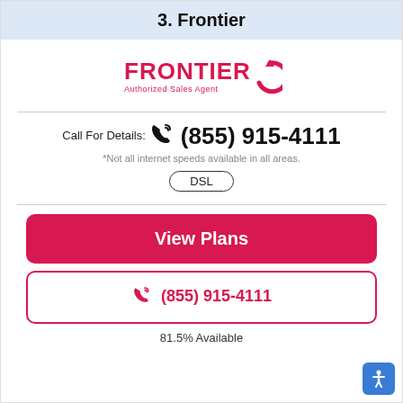3. Frontier
[Figure (logo): Frontier Authorized Sales Agent logo in red with circular arrow icon]
Call For Details: (855) 915-4111
*Not all internet speeds available in all areas.
DSL
View Plans
(855) 915-4111
81.5% Available